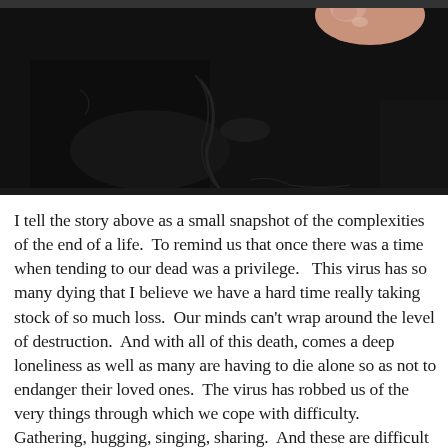[Figure (photo): Close-up dark photo showing fingers touching or holding a dark black fabric or surface. The background is very dark/black with a hand visible in the upper right.]
I tell the story above as a small snapshot of the complexities of the end of a life.  To remind us that once there was a time when tending to our dead was a privilege.   This virus has so many dying that I believe we have a hard time really taking stock of so much loss.  Our minds can't wrap around the level of destruction.  And with all of this death, comes a deep loneliness as well as many are having to die alone so as not to endanger their loved ones.  The virus has robbed us of the very things through which we cope with difficulty.  Gathering, hugging, singing, sharing.  And these are difficult times to be